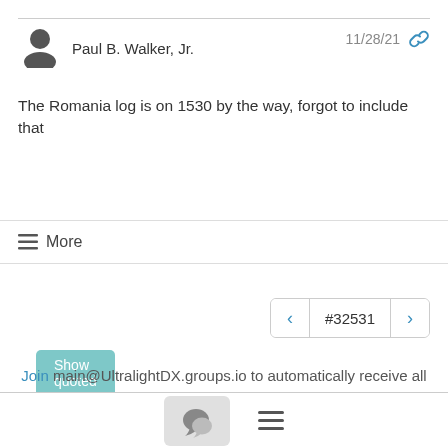Paul B. Walker, Jr.
11/28/21
The Romania log is on 1530 by the way, forgot to include that
Show quoted text
≡ More
#32531
Join main@UltralightDX.groups.io to automatically receive all group messages.